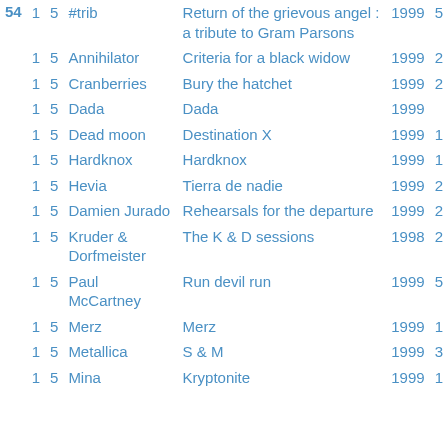| # | 1 | 5 | Artist | Album | Year | Discs |
| --- | --- | --- | --- | --- | --- | --- |
| 54 | 1 | 5 | #trib | Return of the grievous angel : a tribute to Gram Parsons | 1999 | 5 |
|  | 1 | 5 | Annihilator | Criteria for a black widow | 1999 | 2 |
|  | 1 | 5 | Cranberries | Bury the hatchet | 1999 | 2 |
|  | 1 | 5 | Dada | Dada | 1999 |  |
|  | 1 | 5 | Dead moon | Destination X | 1999 | 1 |
|  | 1 | 5 | Hardknox | Hardknox | 1999 | 1 |
|  | 1 | 5 | Hevia | Tierra de nadie | 1999 | 2 |
|  | 1 | 5 | Damien Jurado | Rehearsals for the departure | 1999 | 2 |
|  | 1 | 5 | Kruder & Dorfmeister | The K & D sessions | 1998 | 2 |
|  | 1 | 5 | Paul McCartney | Run devil run | 1999 | 5 |
|  | 1 | 5 | Merz | Merz | 1999 | 1 |
|  | 1 | 5 | Metallica | S & M | 1999 | 3 |
|  | 1 | 5 | Mina | Kryptonite | 1999 | 1 |